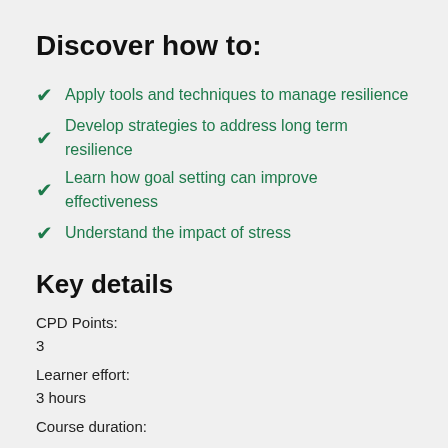Discover how to:
Apply tools and techniques to manage resilience
Develop strategies to address long term resilience
Learn how goal setting can improve effectiveness
Understand the impact of stress
Key details
CPD Points:
3
Learner effort:
3 hours
Course duration: